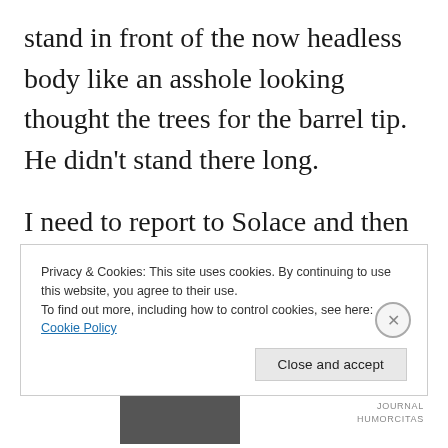stand in front of the now headless body like an asshole looking thought the trees for the barrel tip. He didn't stand there long.
I need to report to Solace and then get back to securing the forest; we agreed that two days of this should be enough to make sure we are still hidden. Till next time kinds (insert sign off here).
Privacy & Cookies: This site uses cookies. By continuing to use this website, you agree to their use.
To find out more, including how to control cookies, see here: Cookie Policy
Close and accept